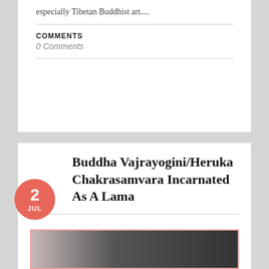especially Tibetan Buddhist art....
COMMENTS
0 Comments
Buddha Vajrayogini/Heruka Chakrasamvara Incarnated As A Lama
[Figure (photo): Black and white photograph partially visible, showing a person or figure, cropped at the bottom of the page]